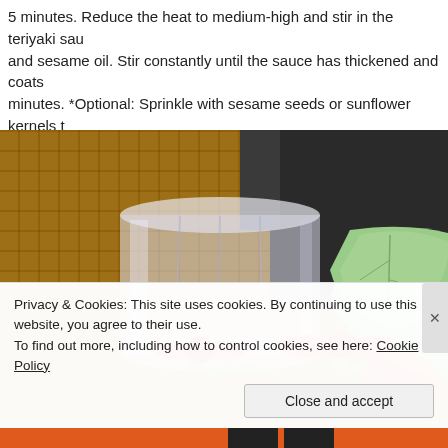5 minutes. Reduce the heat to medium-high and stir in the teriyaki sau and sesame oil. Stir constantly until the sauce has thickened and coats minutes. *Optional: Sprinkle with sesame seeds or sunflower kernels t
[Figure (photo): Photo of a Japanese dining scene on a bamboo mat background, featuring a clear drinking glass, a green leaf-shaped ceramic dish, a pink bow-shaped decoration, and what appears to be teriyaki food items.]
Privacy & Cookies: This site uses cookies. By continuing to use this website, you agree to their use.
To find out more, including how to control cookies, see here: Cookie Policy